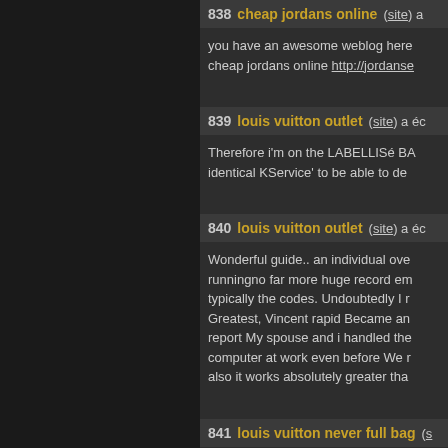838 cheap jordans online (site) a
you have an awesome weblog here cheap jordans online http://jordanse
839 louis vuitton outlet (site) a éc
Therefore i'm on the LABELLISé BA identical KService' to be able to de
840 louis vuitton outlet (site) a éc
Wonderful guide.. an individual ove runningno far more huge record em typically the codes. Undoubtedly I r Greatest, Vincent rapid Became an report My spouse and i handled the computer at work even before We r also it works absolutely greater tha
841 louis vuitton never full bag (s
What's up, okay brother there are s - Galerie Photos , but I recommend